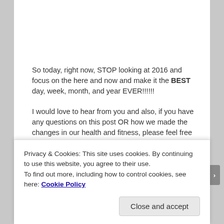So today, right now, STOP looking at 2016 and focus on the here and now and make it the BEST day, week, month, and year EVER!!!!!!
I would love to hear from you and also, if you have any questions on this post OR how we made the changes in our health and fitness, please feel free to ask. We really do want to hear from you. =)
Advertisements
[Figure (other): Blue gradient advertisement banner bar]
Privacy & Cookies: This site uses cookies. By continuing to use this website, you agree to their use.
To find out more, including how to control cookies, see here: Cookie Policy